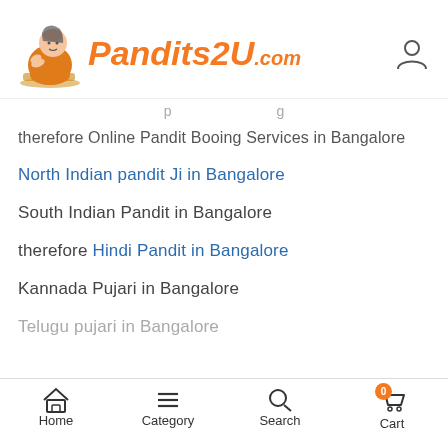Pandits2U.com
therefore Online Pandit Booing Services in Bangalore
North Indian pandit Ji in Bangalore
South Indian Pandit in Bangalore
therefore Hindi Pandit in Bangalore
Kannada Pujari in Bangalore
Telugu pujari in Bangalore
Home  Category  Search  Cart